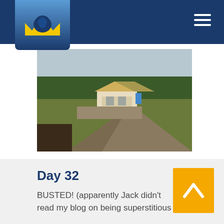Navigation header with logo and hamburger menu
[Figure (photo): Outdoor construction site photo showing a building under construction with exposed roof framing, a gravel driveway curving through the foreground, green grass, and trees in the background under a hazy sky.]
Day 32
BUSTED! (apparently Jack didn't read my blog on being superstitious